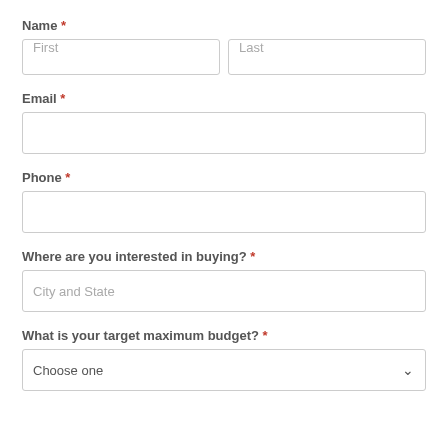Name *
First | Last (input fields)
Email *
(email input field)
Phone *
(phone input field)
Where are you interested in buying? *
City and State (input field)
What is your target maximum budget? *
Choose one (dropdown)